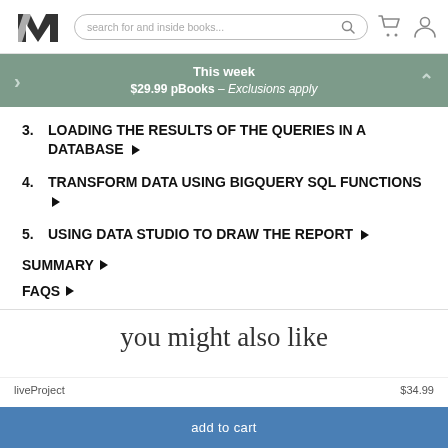search for and inside books...
This week $29.99 pBooks – Exclusions apply
3. LOADING THE RESULTS OF THE QUERIES IN A DATABASE
4. TRANSFORM DATA USING BIGQUERY SQL FUNCTIONS
5. USING DATA STUDIO TO DRAW THE REPORT
SUMMARY
FAQS
you might also like
liveProject   $34.99
add to cart